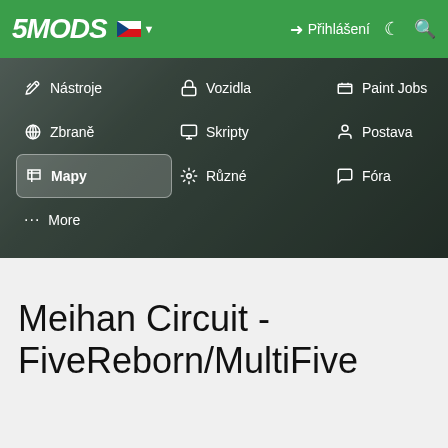5MODS | Přihlášení
[Figure (screenshot): Navigation menu over blurred game background with categories: Nástroje, Zbraně, Mapy (active/highlighted), More, Vozidla, Skripty, Různé, Paint Jobs, Postava, Fóra]
Meihan Circuit - FiveReborn/MultiFive